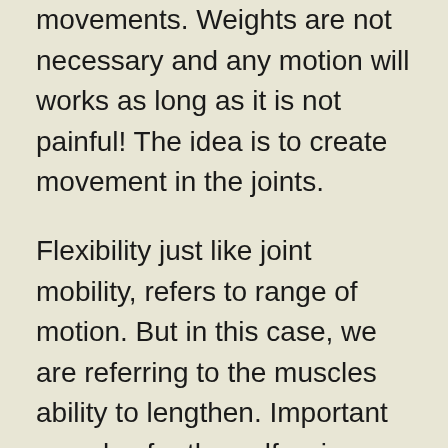movements. Weights are not necessary and any motion will works as long as it is not painful! The idea is to create movement in the joints.
Flexibility just like joint mobility, refers to range of motion. But in this case, we are referring to the muscles ability to lengthen. Important muscles for the golf swing that need to be flexible are the calves, hamstrings, latisimus dorsi (lats), the low back and the chest muscles. You may notice that these muscles cross the joints that we focused on during the mobility exercises. So stretch these muscles